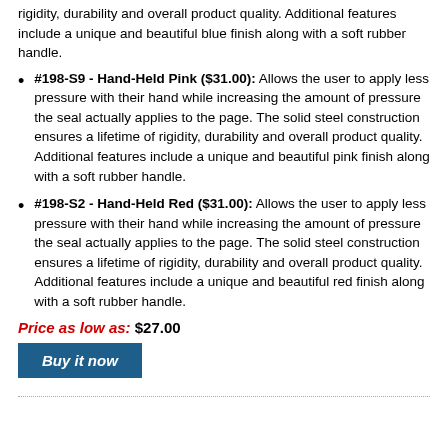rigidity, durability and overall product quality. Additional features include a unique and beautiful blue finish along with a soft rubber handle.
#198-S9 - Hand-Held Pink ($31.00): Allows the user to apply less pressure with their hand while increasing the amount of pressure the seal actually applies to the page. The solid steel construction ensures a lifetime of rigidity, durability and overall product quality. Additional features include a unique and beautiful pink finish along with a soft rubber handle.
#198-S2 - Hand-Held Red ($31.00): Allows the user to apply less pressure with their hand while increasing the amount of pressure the seal actually applies to the page. The solid steel construction ensures a lifetime of rigidity, durability and overall product quality. Additional features include a unique and beautiful red finish along with a soft rubber handle.
Price as low as: $27.00
[Figure (other): Buy it now button (dark blue rectangle with italic white text)]